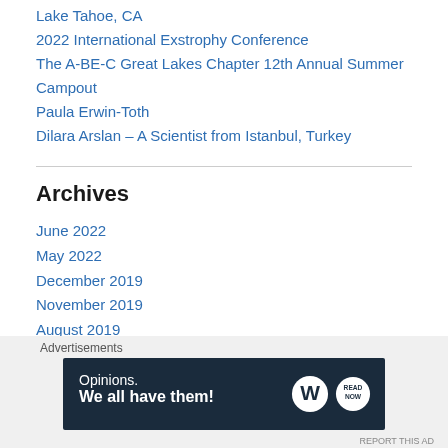Lake Tahoe, CA
2022 International Exstrophy Conference
The A-BE-C Great Lakes Chapter 12th Annual Summer Campout
Paula Erwin-Toth
Dilara Arslan – A Scientist from Istanbul, Turkey
Archives
June 2022
May 2022
December 2019
November 2019
August 2019
June 2019
March 2019
February 2019
Advertisements
[Figure (other): WordPress advertisement banner: 'Opinions. We all have them!' with WordPress logo and another circular logo icon on dark navy background]